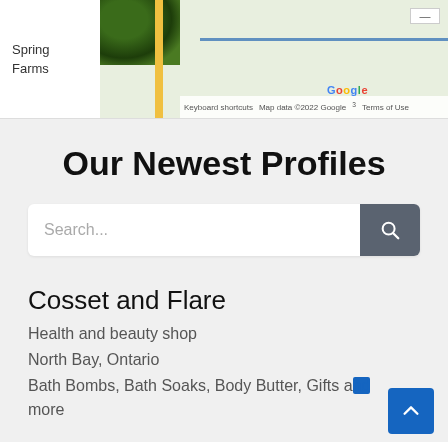[Figure (screenshot): Partial Google Maps view showing a road and satellite imagery thumbnail, with 'Spring' and 'Farms' text on the left, Google logo, keyboard shortcuts, and map data copyright info.]
Our Newest Profiles
Search...
Cosset and Flare
Health and beauty shop
North Bay, Ontario
Bath Bombs, Bath Soaks, Body Butter, Gifts and more